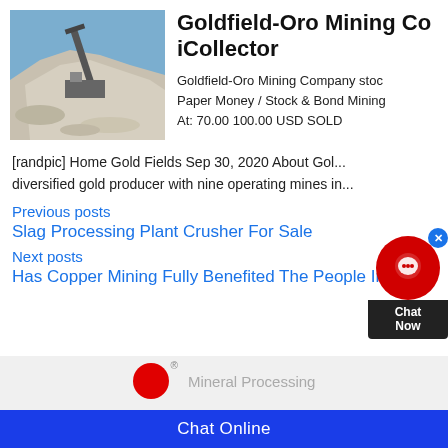[Figure (photo): Mining facility with crushed rock/aggregate pile and machinery under blue sky]
Goldfield-Oro Mining Co iCollector
Goldfield-Oro Mining Company stoc Paper Money / Stock & Bond Mining At: 70.00 100.00 USD SOLD
[randpic] Home Gold Fields Sep 30, 2020 About Gold... diversified gold producer with nine operating mines in...
Previous posts
Slag Processing Plant Crusher For Sale
Next posts
Has Copper Mining Fully Benefited The People In
[Figure (logo): Red circle logo with registered trademark symbol and Mineral Processing text]
Chat Online